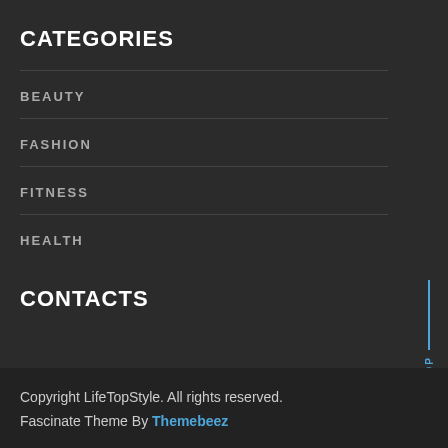CATEGORIES
BEAUTY
FASHION
FITNESS
HEALTH
CONTACTS
Copyright LifeTopStyle. All rights reserved. Fascinate Theme By Themebeez